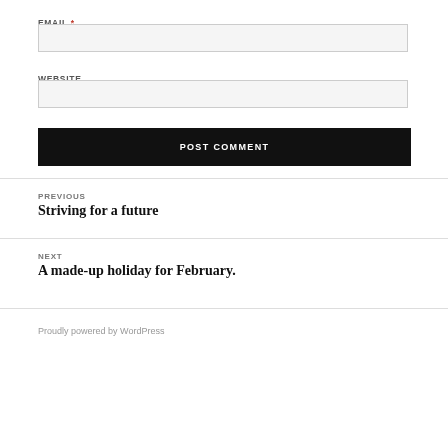EMAIL *
WEBSITE
POST COMMENT
PREVIOUS
Striving for a future
NEXT
A made-up holiday for February.
Proudly powered by WordPress